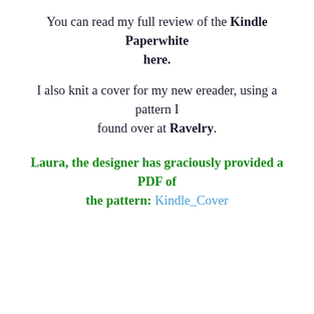You can read my full review of the Kindle Paperwhite here.
I also knit a cover for my new ereader, using a pattern I found over at Ravelry.
Laura, the designer has graciously provided a PDF of the pattern: Kindle_Cover